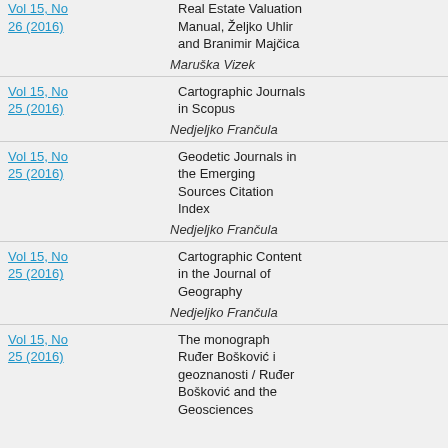Vol 15, No 26 (2016)
Real Estate Valuation Manual, Željko Uhlir and Branimir Majčica
Maruška Vizek
Vol 15, No 25 (2016)
Cartographic Journals in Scopus
Nedjeljko Frančula
Vol 15, No 25 (2016)
Geodetic Journals in the Emerging Sources Citation Index
Nedjeljko Frančula
Vol 15, No 25 (2016)
Cartographic Content in the Journal of Geography
Nedjeljko Frančula
Vol 15, No 25 (2016)
The monograph Ruđer Bošković i geoznanosti / Ruđer Bošković and the Geosciences